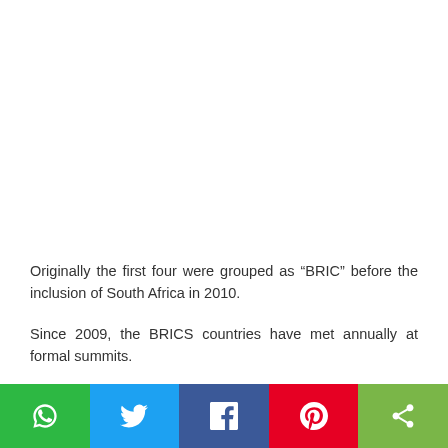Originally the first four were grouped as “BRIC” before the inclusion of South Africa in 2010.
Since 2009, the BRICS countries have met annually at formal summits.
“It is important that …
[Figure (other): Social media share bar with WhatsApp (green), Twitter (blue), Facebook (dark blue), Pinterest (red), and share (green) buttons]